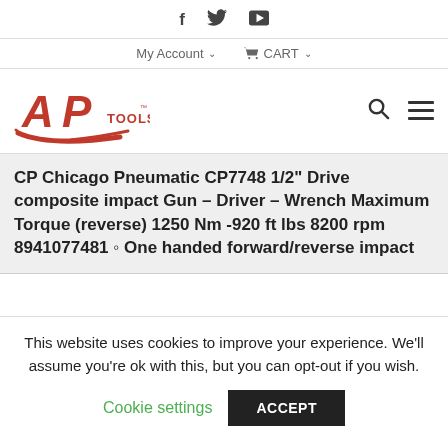f  Twitter  YouTube  |  My Account  CART
[Figure (logo): AP Tools logo — red stylized 'AP' letters with 'TOOLS' wordmark, red swoosh underneath]
CP Chicago Pneumatic CP7748 1/2" Drive composite impact Gun – Driver – Wrench Maximum Torque (reverse) 1250 Nm -920 ft lbs 8200 rpm 8941077481 ◦ One handed forward/reverse impact
This website uses cookies to improve your experience. We'll assume you're ok with this, but you can opt-out if you wish.
Cookie settings   ACCEPT